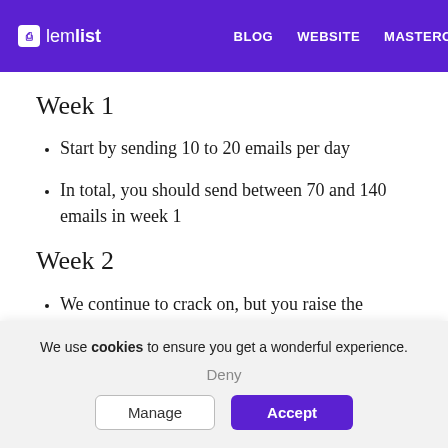lemlist | BLOG | WEBSITE | MASTERC
Week 1
Start by sending 10 to 20 emails per day
In total, you should send between 70 and 140 emails in week 1
Week 2
We continue to crack on, but you raise the
We use cookies to ensure you get a wonderful experience.
Deny
Manage | Accept